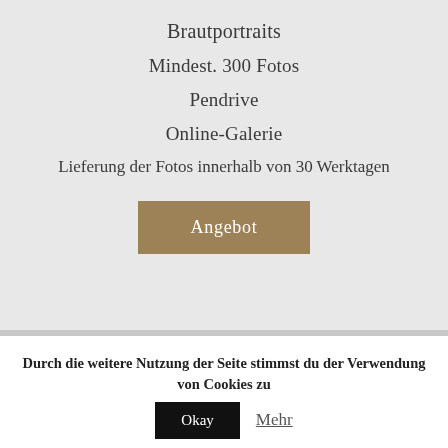Brautportraits
Mindest. 300 Fotos
Pendrive
Online-Galerie
Lieferung der Fotos innerhalb von 30 Werktagen
Angebot
Durch die weitere Nutzung der Seite stimmst du der Verwendung von Cookies zu
Okay
Mehr